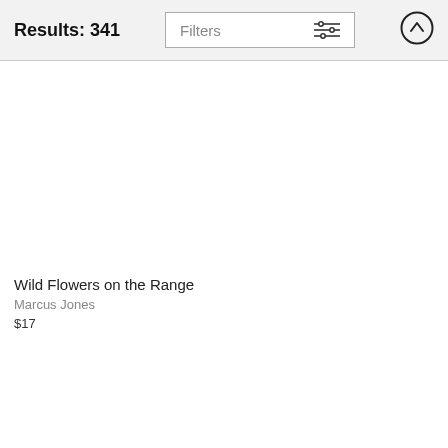Results: 341
Filters
Wild Flowers on the Range
Marcus Jones
$17